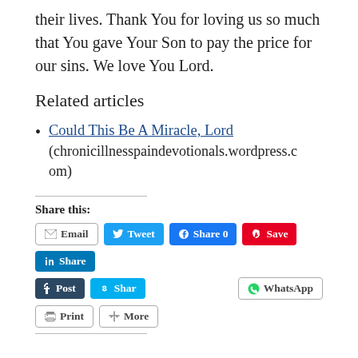their lives. Thank You for loving us so much that You gave Your Son to pay the price for our sins. We love You Lord.
Related articles
Could This Be A Miracle, Lord (chronicillnesspaindevotionals.wordpress.com)
Share this:
Email  Tweet  Share 0  Save  Share  Post  Shar  WhatsApp  Print  More